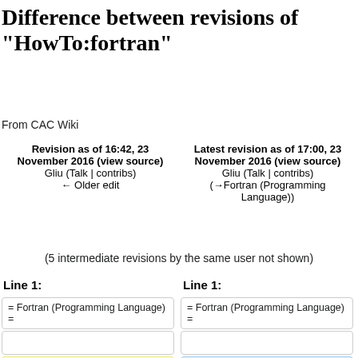Difference between revisions of "HowTo:fortran"
From CAC Wiki
| Left revision | Right revision |
| --- | --- |
| Revision as of 16:42, 23 November 2016 (view source)
Gliu (Talk | contribs)
← Older edit | Latest revision as of 17:00, 23 November 2016 (view source)
Gliu (Talk | contribs)
(→Fortran (Programming Language)) |
(5 intermediate revisions by the same user not shown)
Line 1:
Line 1:
= Fortran (Programming Language) =
= Fortran (Programming Language) =
FORTRAN, C, and C++ have a
FORTRAN, C, and C++ have a